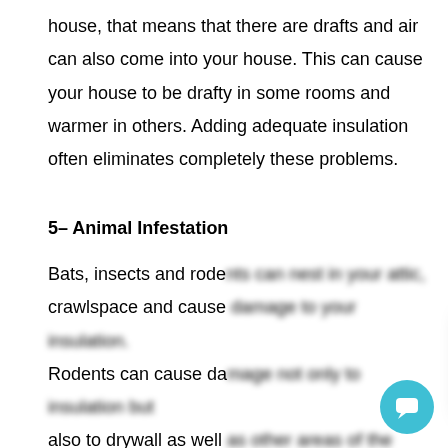house, that means that there are drafts and air can also come into your house. This can cause your house to be drafty in some rooms and warmer in others. Adding adequate insulation often eliminates completely these problems.
5– Animal Infestation
Bats, insects and rodents can nest in your attic, crawlspace and cause damage to your insulation. Rodents can cause damage not only to insulation but also to drywall as well. It can cost you thousands of dollars to repair the damage.In order to make your house heating more efficient, the damaged insulation should be replaced.